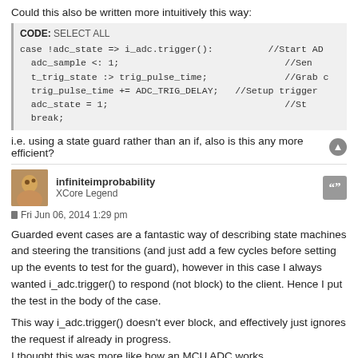Could this also be written more intuitively this way:
[Figure (screenshot): Code block with header 'CODE: SELECT ALL' showing an XC case statement with guarded event: case !adc_state => i_adc.trigger(): with body including adc_sample, t_trig_state, trig_pulse_time, adc_state, and break statements with inline comments]
i.e. using a state guard rather than an if, also is this any more efficient?
infiniteimprobability
XCore Legend
Fri Jun 06, 2014 1:29 pm
Guarded event cases are a fantastic way of describing state machines and steering the transitions (and just add a few cycles before setting up the events to test for the guard), however in this case I always wanted i_adc.trigger() to respond (not block) to the client. Hence I put the test in the body of the case.
This way i_adc.trigger() doesn't ever block, and effectively just ignores the request if already in progress.
I thought this was more like how an MCU ADC works.